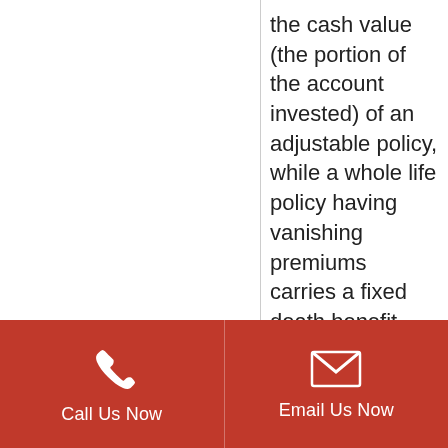the cash value (the portion of the account invested) of an adjustable policy, while a whole life policy having vanishing premiums carries a fixed death benefit.
Flexible premium life insurance
Call Us Now | Email Us Now